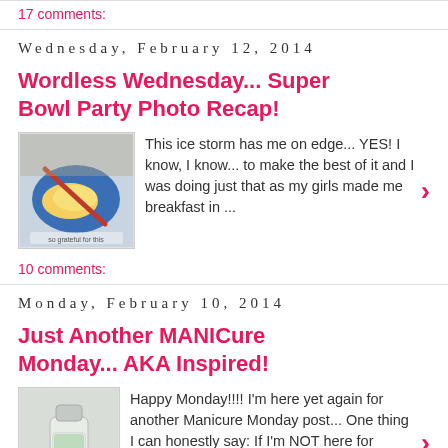17 comments:
Wednesday, February 12, 2014
Wordless Wednesday... Super Bowl Party Photo Recap!
[Figure (photo): Thumbnail photo of a plate with scrambled eggs on a blue plate with a fork]
This ice storm has me on edge... YES! I know, I know... to make the best of it and I was doing just that as my girls made me breakfast in ...
10 comments:
Monday, February 10, 2014
Just Another MANICure Monday... AKA Inspired!
[Figure (photo): Thumbnail photo of a nail polish or lotion bottle]
Happy Monday!!!! I'm here yet again for another Manicure Monday post... One thing I can honestly say: If I'm NOT here for ANYTHING ...
14 comments: